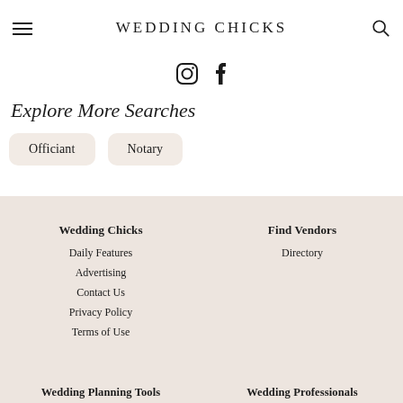WEDDING CHICKS
[Figure (logo): Instagram and Facebook social media icons]
Explore More Searches
Officiant
Notary
Wedding Chicks
Daily Features
Advertising
Contact Us
Privacy Policy
Terms of Use
Find Vendors
Directory
Wedding Planning Tools
Wedding Professionals